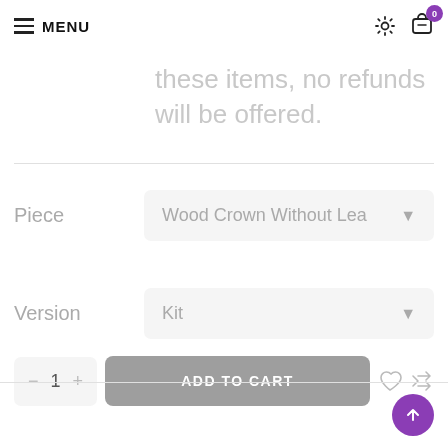MENU
these items, no refunds will be offered.
Piece — Wood Crown Without Lea (dropdown)
Version — Kit (dropdown)
1  ADD TO CART